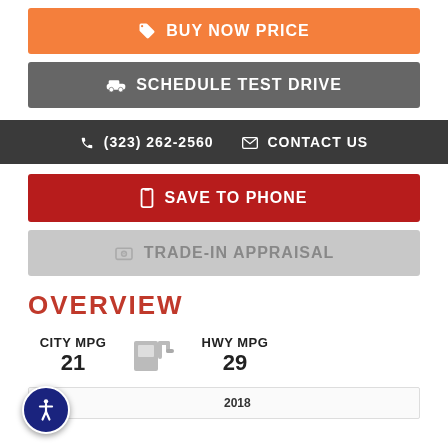BUY NOW PRICE
SCHEDULE TEST DRIVE
(323) 262-2560   CONTACT US
SAVE TO PHONE
TRADE-IN APPRAISAL
OVERVIEW
CITY MPG 21   HWY MPG 29